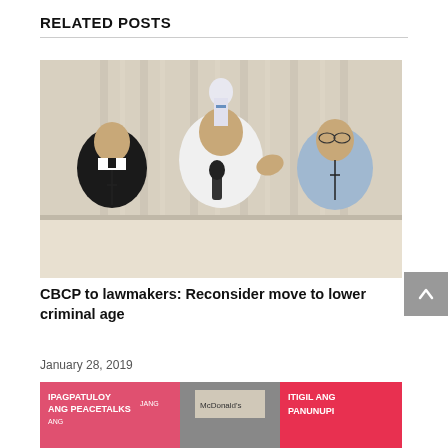RELATED POSTS
[Figure (photo): Three Catholic bishops/priests seated at a table with microphones. Center figure speaks into a microphone and gestures with his hand. A Virgin Mary statue is visible in the background against white curtains.]
CBCP to lawmakers: Reconsider move to lower criminal age
January 28, 2019
[Figure (photo): Street protest banner reading 'IPAGPATULOY ANG PEACETALKS JANG...' with McDonald's sign visible and another sign reading 'ITIGIL ANG PANUNUPI']